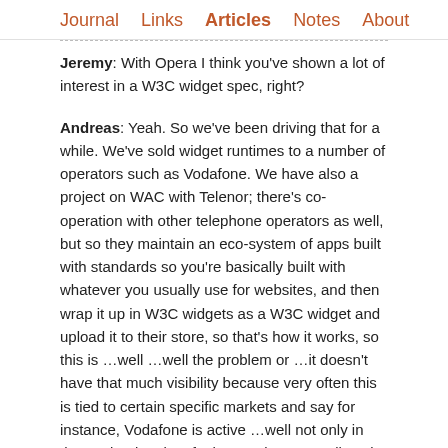Journal  Links  Articles  Notes  About
Jeremy: With Opera I think you've shown a lot of interest in a W3C widget spec, right?
Andreas: Yeah. So we've been driving that for a while. We've sold widget runtimes to a number of operators such as Vodafone. We have also a project on WAC with Telenor; there's co-operation with other telephone operators as well, but so they maintain an eco-system of apps built with standards so you're basically built with whatever you usually use for websites, and then wrap it up in W3C widgets as a W3C widget and upload it to their store, so that's how it works, so this is …well …well the problem or …it doesn't have that much visibility because very often this is tied to certain specific markets and say for instance, Vodafone is active …well not only in the UK but in a lot of other markets as well, so it doesn't get, I know for instance they shipped mini widgets in certain markets in Africa which nobody here